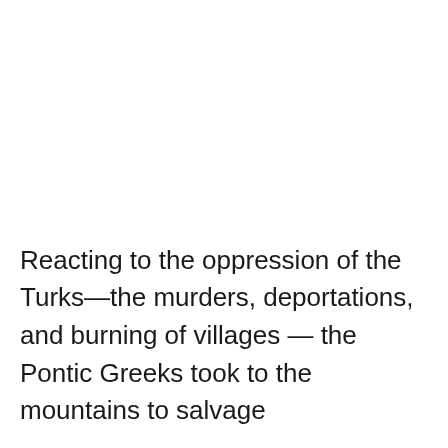Reacting to the oppression of the Turks—the murders, deportations, and burning of villages — the Pontic Greeks took to the mountains to salvage